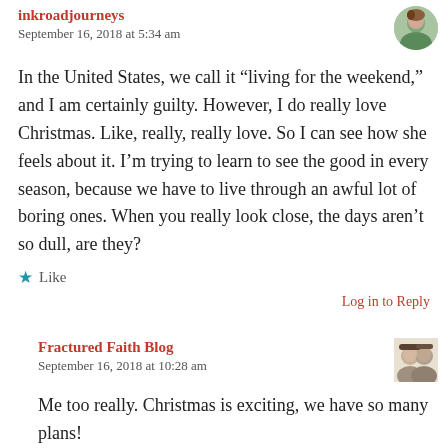inkroadjourneys
September 16, 2018 at 5:34 am
In the United States, we call it “living for the weekend,” and I am certainly guilty. However, I do really love Christmas. Like, really, really love. So I can see how she feels about it. I’m trying to learn to see the good in every season, because we have to live through an awful lot of boring ones. When you really look close, the days aren’t so dull, are they?
Like
Log in to Reply
Fractured Faith Blog
September 16, 2018 at 10:28 am
Me too really. Christmas is exciting, we have so many plans!